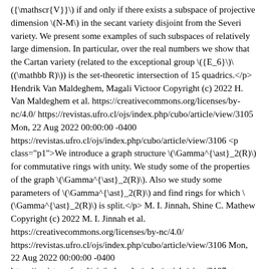({\mathscr{V}}\) if and only if there exists a subspace of projective dimension \(N-M\) in the secant variety disjoint from the Severi variety. We present some examples of such subspaces of relatively large dimension. In particular, over the real numbers we show that the Cartan variety (related to the exceptional group \({E_6}\)\((\mathbb R)\)) is the set-theoretic intersection of 15 quadrics.</p> Hendrik Van Maldeghem, Magali Victoor Copyright (c) 2022 H. Van Maldeghem et al. https://creativecommons.org/licenses/by-nc/4.0/ https://revistas.ufro.cl/ojs/index.php/cubo/article/view/3105 Mon, 22 Aug 2022 00:00:00 -0400 https://revistas.ufro.cl/ojs/index.php/cubo/article/view/3106 <p class="p1">We introduce a graph structure \(\Gamma^{\ast}_2(R)\) for commutative rings with unity. We study some of the properties of the graph \(\Gamma^{\ast}_2(R)\). Also we study some parameters of \(\Gamma^{\ast}_2(R)\) and find rings for which \(\Gamma^{\ast}_2(R)\) is split.</p> M. I. Jinnah, Shine C. Mathew Copyright (c) 2022 M. I. Jinnah et al. https://creativecommons.org/licenses/by-nc/4.0/ https://revistas.ufro.cl/ojs/index.php/cubo/article/view/3106 Mon, 22 Aug 2022 00:00:00 -0400 https://revistas.ufro.cl/ojs/index.php/cubo/article/view/3107 <p class="p1">The purpose of this paper is to prove some results on fixed point, coincidence point, coupled coincidence point and coupled common fixed point for the mappings satisfying<span